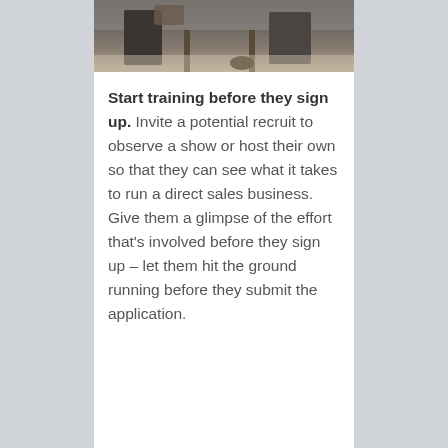[Figure (photo): A photo showing people seated, partially visible from below the waist, in what appears to be an indoor setting with wooden furniture and a floor.]
Start training before they sign up. Invite a potential recruit to observe a show or host their own so that they can see what it takes to run a direct sales business. Give them a glimpse of the effort that's involved before they sign up – let them hit the ground running before they submit the application.